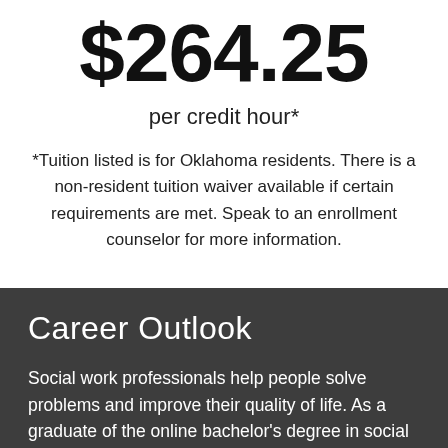$264.25
per credit hour*
*Tuition listed is for Oklahoma residents. There is a non-resident tuition waiver available if certain requirements are met. Speak to an enrollment counselor for more information.
Career Outlook
Social work professionals help people solve problems and improve their quality of life. As a graduate of the online bachelor’s degree in social work program, you will